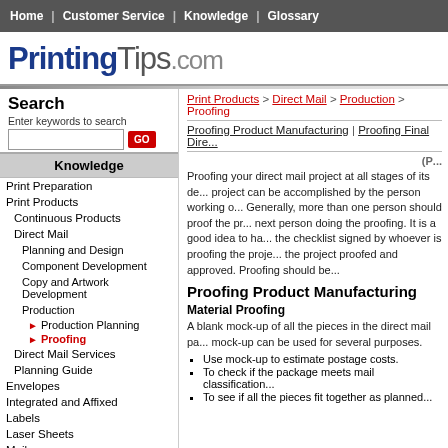Home | Customer Service | Knowledge | Glossary
PrintingTips.com
Search
Enter keywords to search
Knowledge
Print Preparation
Print Products
Continuous Products
Direct Mail
Planning and Design
Component Development
Copy and Artwork Development
Production
Production Planning
Proofing
Direct Mail Services
Planning Guide
Envelopes
Integrated and Affixed
Labels
Laser Sheets
Mailers
Print Products > Direct Mail > Production > Proofing
Proofing Product Manufacturing | Proofing Final Dire...
Proofing your direct mail project at all stages of its de... project can be accomplished by the person working o... Generally, more than one person should proof the pr... next person doing the proofing. It is a good idea to ha... the checklist signed by whoever is proofing the proje... the project proofed and approved. Proofing should be...
Proofing Product Manufacturing
Material Proofing
A blank mock-up of all the pieces in the direct mail pa... mock-up can be used for several purposes.
Use mock-up to estimate postage costs.
To check if the package meets mail classification...
To see if all the pieces fit together as planned...